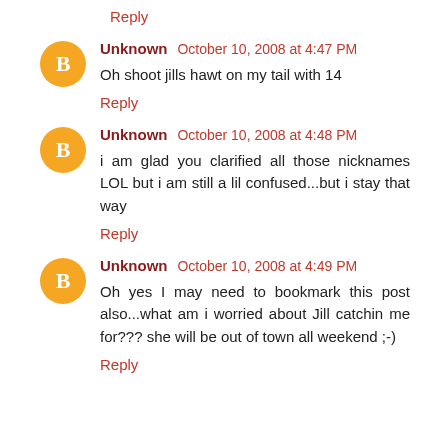Reply
Unknown  October 10, 2008 at 4:47 PM
Oh shoot jills hawt on my tail with 14
Reply
Unknown  October 10, 2008 at 4:48 PM
i am glad you clarified all those nicknames LOL but i am still a lil confused...but i stay that way
Reply
Unknown  October 10, 2008 at 4:49 PM
Oh yes I may need to bookmark this post also...what am i worried about Jill catchin me for??? she will be out of town all weekend ;-)
Reply